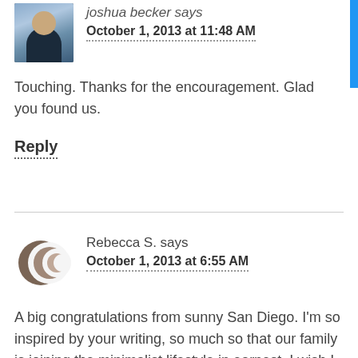[Figure (photo): Avatar photo of a young man against a stone wall background]
October 1, 2013 at 11:48 AM
Touching. Thanks for the encouragement. Glad you found us.
Reply
[Figure (logo): Crescent moon logo icon in brown/taupe tones, circular shape]
Rebecca S. says
October 1, 2013 at 6:55 AM
A big congratulations from sunny San Diego. I'm so inspired by your writing, so much so that our family is joining the minimalist lifestyle in earnest. I wish I could say it's an easy, straightforward